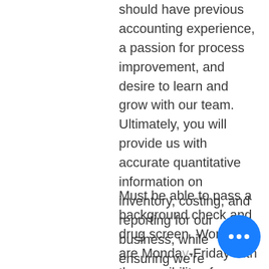should have previous accounting experience, a passion for process improvement, and desire to learn and grow with our team. Ultimately, you will provide us with accurate quantitative information on inventory, costing, and reporting for our business, while ensuring we're compliant with tax regulations, UCC laws, GAAP and developing excellent internal and external customer relationships.
Must be able to pass a background check and drug screen. Workdays are Monday-Friday with the possibility of an